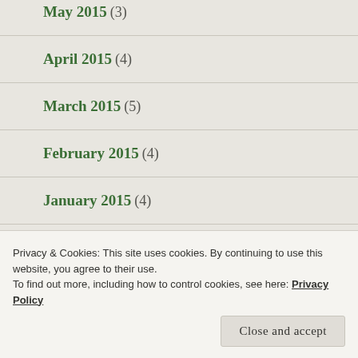May 2015 (3)
April 2015 (4)
March 2015 (5)
February 2015 (4)
January 2015 (4)
December 2014 (3)
November 2014 (4)
Privacy & Cookies: This site uses cookies. By continuing to use this website, you agree to their use.
To find out more, including how to control cookies, see here: Privacy Policy
Close and accept